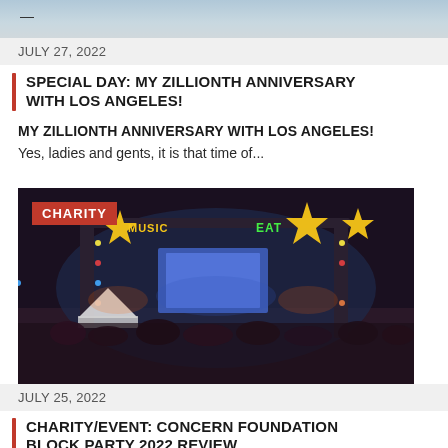[Figure (photo): Partial cropped image showing ocean/water scene at top of page]
JULY 27, 2022
SPECIAL DAY: MY ZILLIONTH ANNIVERSARY WITH LOS ANGELES!
MY ZILLIONTH ANNIVERSARY WITH LOS ANGELES!
Yes, ladies and gents, it is that time of...
[Figure (photo): Night outdoor concert/event with large crowd, illuminated stage arch with stars and text MUSIC EAT, colorful lights, CHARITY badge overlay]
JULY 25, 2022
CHARITY/EVENT: CONCERN FOUNDATION BLOCK PARTY 2022 REVIEW